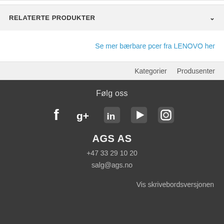RELATERTE PRODUKTER
Se mer bærbare pcer fra LENOVO her
Kategorier   Produsenter
Følg oss
[Figure (other): Social media icons: Facebook, Google+, LinkedIn, YouTube, Instagram]
AGS AS
+47 33 29 10 20
salg@ags.no
Vis skrivebordsversjonen